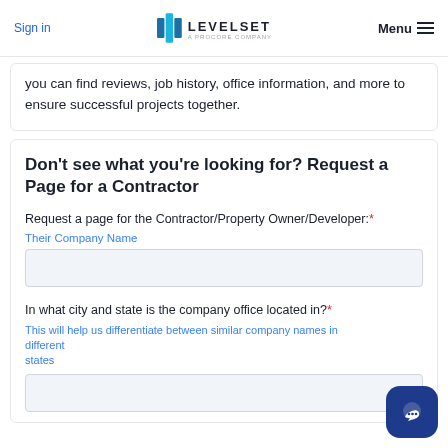Sign in | LEVELSET A PROCORE COMPANY | Menu
you can find reviews, job history, office information, and more to ensure successful projects together.
Don't see what you're looking for? Request a Page for a Contractor
Request a page for the Contractor/Property Owner/Developer:*
Their Company Name
In what city and state is the company office located in?*
This will help us differentiate between similar company names in different states